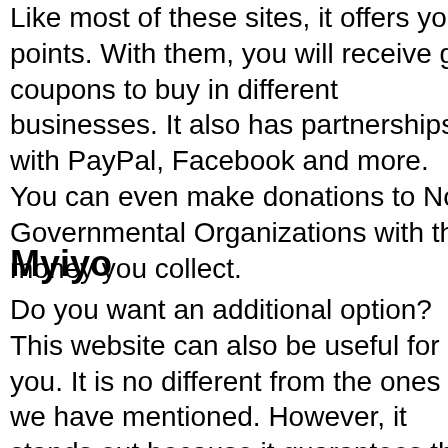Like most of these sites, it offers you points. With them, you will receive gift coupons to buy in different businesses. It also has partnerships with PayPal, Facebook and more. You can even make donations to No Governmental Organizations with the money you collect.
Myiyo
Do you want an additional option? This website can also be useful for you. It is no different from the ones we have mentioned. However, it stands out because it guarantees that you will receive the money quickly. It is available in different languages and in several countries. You can recommend it to